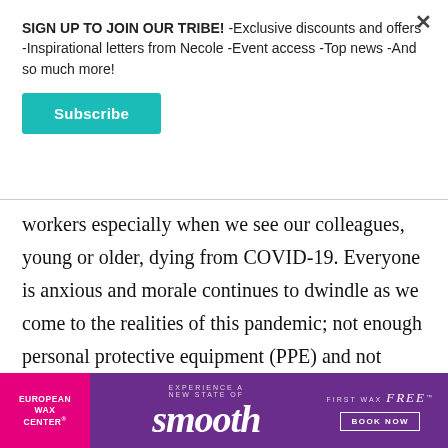SIGN UP TO JOIN OUR TRIBE! -Exclusive discounts and offers -Inspirational letters from Necole -Event access -Top news -And so much more!
Subscribe
workers especially when we see our colleagues, young or older, dying from COVID-19. Everyone is anxious and morale continues to dwindle as we come to the realities of this pandemic; not enough personal protective equipment (PPE) and not enough system support to support an influx of ill patients when they come.
[Figure (other): European Wax Center advertisement banner: pink left section with 'EUROPEAN WAX CENTER' logo, purple center with 'EXPERIENCE A NEW STATE OF smooth', and 'FIRST WAX free BOOK NOW' on the right]